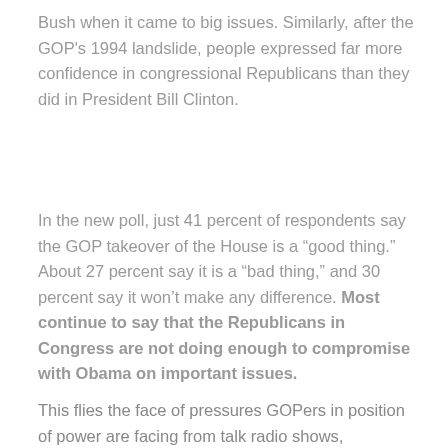Bush when it came to big issues. Similarly, after the GOP's 1994 landslide, people expressed far more confidence in congressional Republicans than they did in President Bill Clinton.
In the new poll, just 41 percent of respondents say the GOP takeover of the House is a “good thing.” About 27 percent say it is a “bad thing,” and 30 percent say it won’t make any difference. Most continue to say that the Republicans in Congress are not doing enough to compromise with Obama on important issues.
This flies the face of pressures GOPers in position of power are facing from talk radio shows, Republican Tea